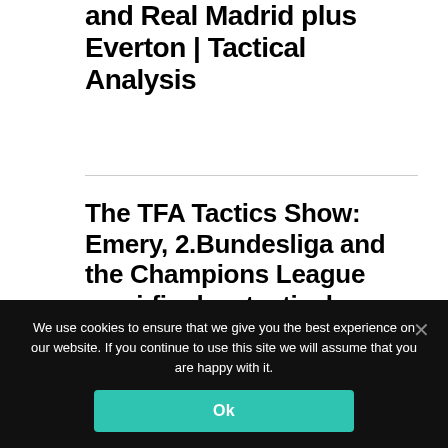and Real Madrid plus Everton | Tactical Analysis
The TFA Tactics Show: Emery, 2.Bundesliga and the Champions League semi-finals – tactical analysis
VIDEO: Declan Rice – statistically England's best passer of a ball
We use cookies to ensure that we give you the best experience on our website. If you continue to use this site we will assume that you are happy with it.